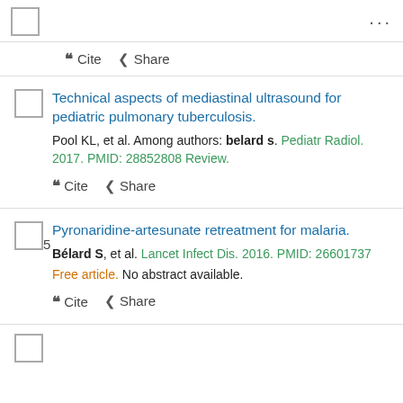☐  ...
❝ Cite  < Share
Technical aspects of mediastinal ultrasound for pediatric pulmonary tuberculosis.
Pool KL, et al. Among authors: belard s. Pediatr Radiol. 2017. PMID: 28852808 Review.
❝ Cite  < Share
Pyronaridine-artesunate retreatment for malaria.
Bélard S, et al. Lancet Infect Dis. 2016. PMID: 26601737 Free article. No abstract available.
❝ Cite  < Share